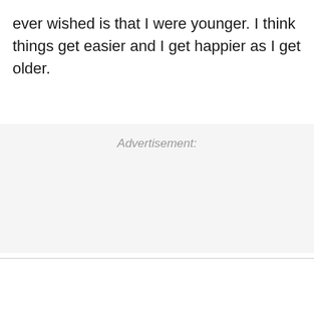ever wished is that I were younger. I think things get easier and I get happier as I get older.
Advertisement: